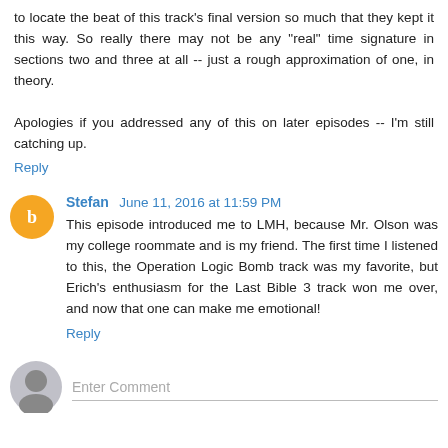to locate the beat of this track's final version so much that they kept it this way. So really there may not be any "real" time signature in sections two and three at all -- just a rough approximation of one, in theory.
Apologies if you addressed any of this on later episodes -- I'm still catching up.
Reply
Stefan  June 11, 2016 at 11:59 PM
This episode introduced me to LMH, because Mr. Olson was my college roommate and is my friend. The first time I listened to this, the Operation Logic Bomb track was my favorite, but Erich's enthusiasm for the Last Bible 3 track won me over, and now that one can make me emotional!
Reply
Enter Comment